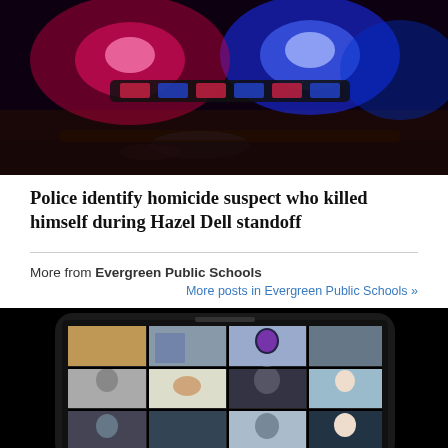[Figure (photo): Police car with flashing red and blue emergency lights at night]
Police identify homicide suspect who killed himself during Hazel Dell standoff
More from Evergreen Public Schools
More posts in Evergreen Public Schools »
[Figure (photo): A tablet device displaying a video call grid with multiple participants including children]